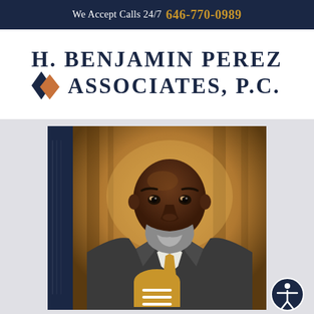We Accept Calls 24/7  646-770-0989
H. BENJAMIN PEREZ & ASSOCIATES, P.C.
[Figure (photo): Professional headshot of H. Benjamin Perez, a bald Black man with a gray beard wearing a gray suit with white shirt and tie, photographed in what appears to be a courthouse or formal building interior with warm golden lighting.]